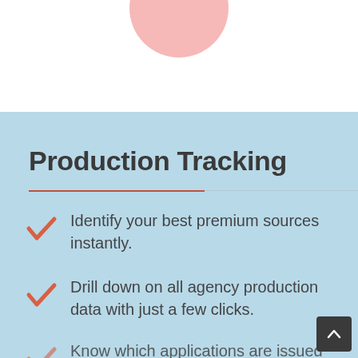[Figure (illustration): Partial pink circle visible at the top center of the page against a white background]
Production Tracking
Identify your best premium sources instantly.
Drill down on all agency production data with just a few clicks.
Know which applications are issued and